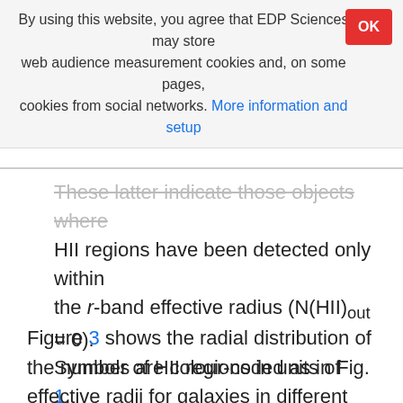By using this website, you agree that EDP Sciences may store web audience measurement cookies and, on some pages, cookies from social networks. More information and setup
These latter indicate those objects where HII regions have been detected only within the r-band effective radius (N(HII)out = 0). Symbols are colour-coded as in Fig. 1.
Figure 3 shows the radial distribution of the number of HII regions in units of effective radii for galaxies in different bins of stellar mass. Figure 3 again indicates that the total number of HII regions is systematically lower in HI-stripped galaxies than in HI-normal galaxies, in particular in high-mass systems (Mstar > 10^9.5 M☉), and despite the number of HI-deficient objects (20)